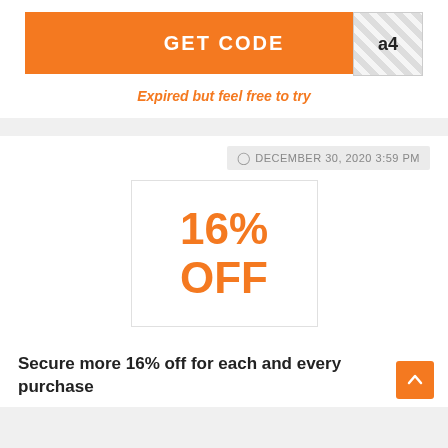[Figure (other): Orange GET CODE button with hatched reveal area showing 'a4']
Expired but feel free to try
DECEMBER 30, 2020 3:59 PM
[Figure (other): Coupon box showing 16% OFF in orange text]
Secure more 16% off for each and every purchase